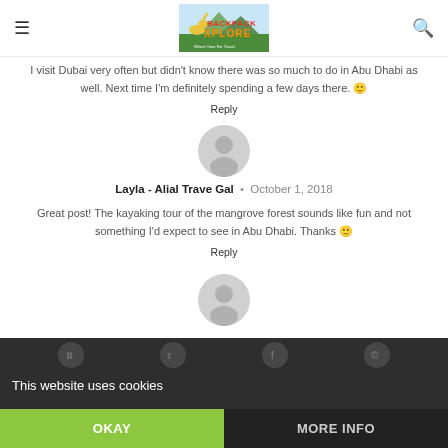[Logo: Backpack Xplore] [Menu icon] [Search icon]
I visit Dubai very often but didn't know there was so much to do in Abu Dhabi as well. Next time I'm definitely spending a few days there. 🙂
Reply
[Figure (illustration): Generic user avatar circle icon (gray)]
Layla - Alial Trave Gal · October 1, 2018
Great post! The kayaking tour of the mangrove forest sounds like fun and not something I'd expect to see in Abu Dhabi. Thanks 🙂
Reply
[Figure (illustration): Generic user avatar circle icon (gray)]
This website uses cookies
OKAY
MORE INFO